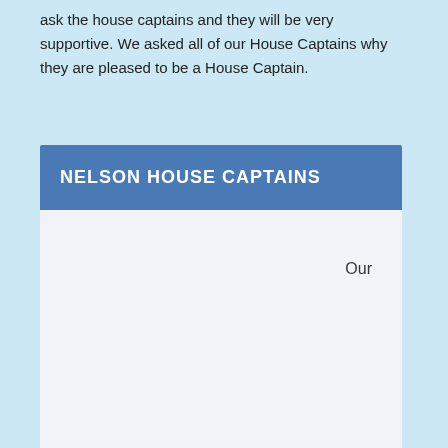ask the house captains and they will be very supportive. We asked all of our House Captains why they are pleased to be a House Captain.
NELSON HOUSE CAPTAINS
Our